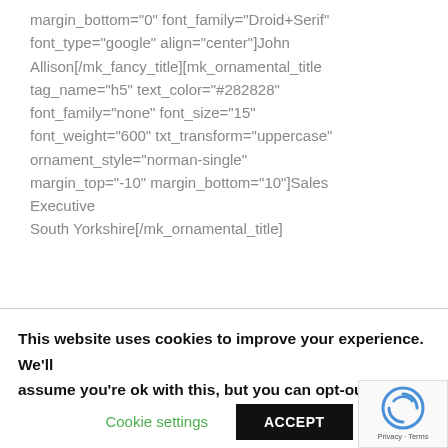margin_bottom="0" font_family="Droid+Serif" font_type="google" align="center"]John Allison[/mk_fancy_title][mk_ornamental_title tag_name="h5" text_color="#282828" font_family="none" font_size="15" font_weight="600" txt_transform="uppercase" ornament_style="norman-single" margin_top="-10" margin_bottom="10"]Sales Executive South Yorkshire[/mk_ornamental_title]
This website uses cookies to improve your experience. We'll assume you're ok with this, but you can opt-out if yo
Cookie settings
ACCEPT